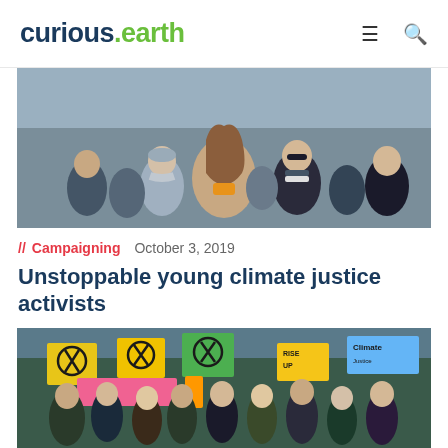curious.earth
[Figure (photo): Smiling young people in winter clothes at a climate march, crowd shot from above]
// Campaigning   October 3, 2019
Unstoppable young climate justice activists
[Figure (photo): Large Extinction Rebellion protest crowd holding yellow signs with XR logo, pink and green banners, with a large green banner reading REBEL FOR LIFE at the bottom]